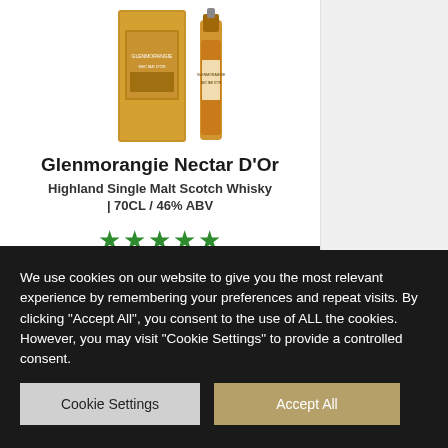[Figure (photo): Product image of Glenmorangie Nectar D'Or whisky bottle with gold box packaging]
Glenmorangie Nectar D'Or
Highland Single Malt Scotch Whisky | 70CL / 46% ABV
★★★★★ (5 stars rating)
£52.99
Add To Basket
We use cookies on our website to give you the most relevant experience by remembering your preferences and repeat visits. By clicking "Accept All", you consent to the use of ALL the cookies. However, you may visit "Cookie Settings" to provide a controlled consent.
Cookie Settings
Accept All